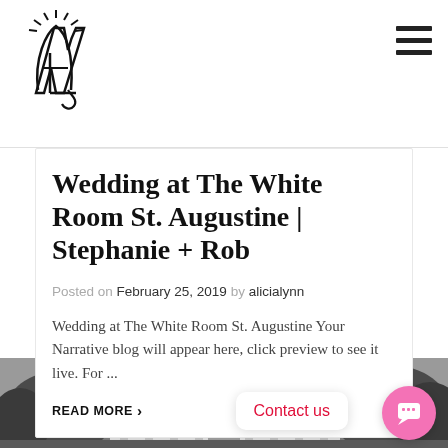Logo and navigation header
Wedding at The White Room St. Augustine | Stephanie + Rob
Posted on February 25, 2019 by alicialynn
Wedding at The White Room St. Augustine Your Narrative blog will appear here, click preview to see it live. For ...
READ MORE >
[Figure (photo): Black and white photo of a building at the bottom of the page]
Contact us